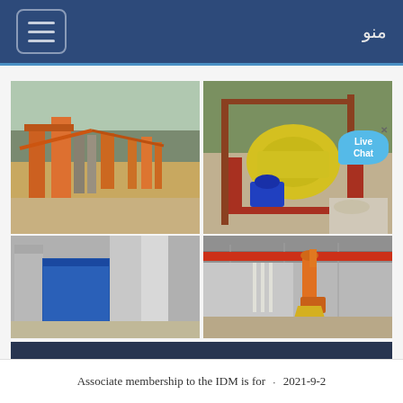منو
[Figure (photo): Four industrial/mining facility photos arranged in a 2x2 grid: top-left shows an outdoor mining plant with orange machinery and conveyor belts; top-right shows a yellow hammer crusher machine with blue motor and a Live Chat bubble; bottom-left shows a building exterior with blue tarps/curtains and concrete silos; bottom-right shows an indoor factory/warehouse with orange cyclone dust collector equipment.]
's | Institute Of Infectious Disease and
Associate membership to the IDM is for · 2021-9-2